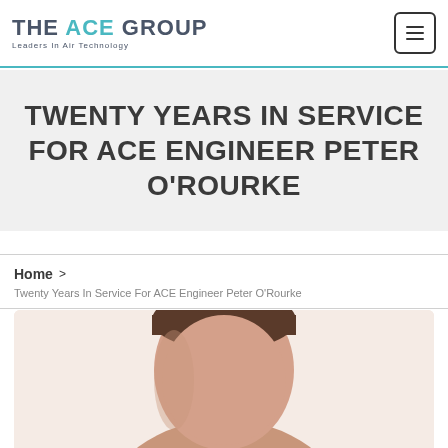THE ACE GROUP — Leaders In Air Technology
TWENTY YEARS IN SERVICE FOR ACE ENGINEER PETER O'ROURKE
Home > Twenty Years In Service For ACE Engineer Peter O'Rourke
[Figure (photo): Photo of person (Peter O'Rourke), partially visible at bottom of page, head and upper shoulders cropped]